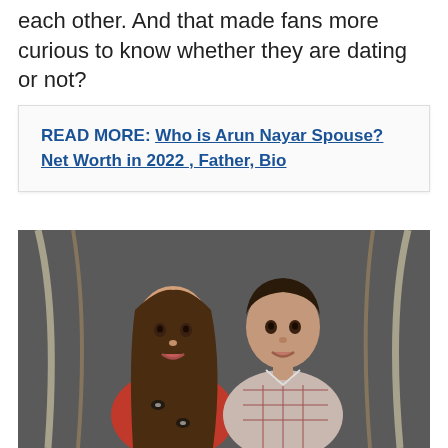each other. And that made fans more curious to know whether they are dating or not?
READ MORE: Who is Arun Nayar Spouse? Net Worth in 2022 , Father, Bio
[Figure (photo): Two young celebrities posing together in front of a metallic/industrial background with curved lighting. The woman on the left has long brown hair and is wearing a red top with eye patterns. The man on the right has dark short hair and is wearing a plaid shirt.]